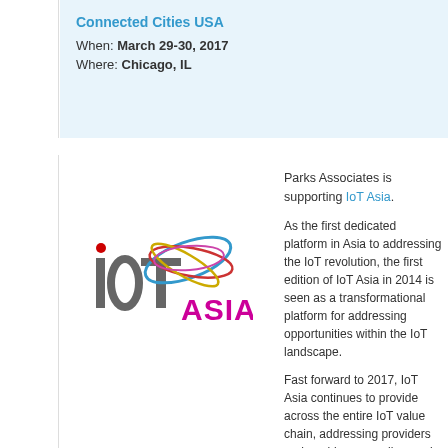Connected Cities USA
When: March 29-30, 2017
Where: Chicago, IL
[Figure (logo): IoT Asia logo with colorful orbital rings around text 'IoT' and 'ASIA' in magenta]
Parks Associates is supporting IoT Asia.
As the first dedicated platform in Asia to address the IoT revolution, the first edition of IoT Asia in 2014 is seen as a transformational platform for addressing opportunities within the IoT landscape.
Fast forward to 2017, IoT Asia continues to provide across the entire IoT value chain, addressing providers and enablers as well as end-user applications across multiple industries.
Get 10% off registration with promo code IOT
IoT Asia
When: March 29-30, 2017
Where: Singapore